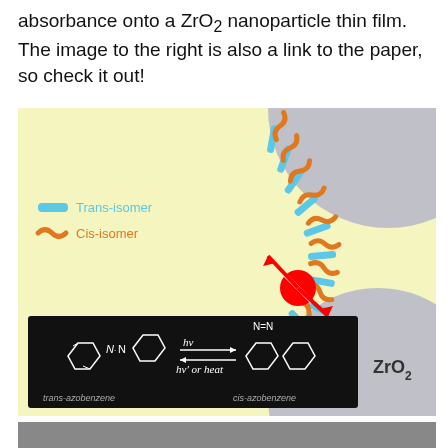absorbance onto a ZrO₂ nanoparticle thin film. The image to the right is also a link to the paper, so check it out!
[Figure (illustration): Scientific diagram showing azobenzene isomers (trans and cis) adsorbed on ZrO2 nanoparticle thin film. Yellow background with gray circular nanoparticles. Blue horizontal bars represent trans-isomers and orange curved shapes represent cis-isomers arranged around the nanoparticle surface. Red arrows and a red circle indicate photoisomerization. Inset black box shows chemical structures of trans-azobenzene converting to cis-azobenzene via hv (light) and hv' or heat. Legend shows Trans-isomer (blue bar) and Cis-isomer (orange shape). ZrO2 label on gray nanoparticle.]